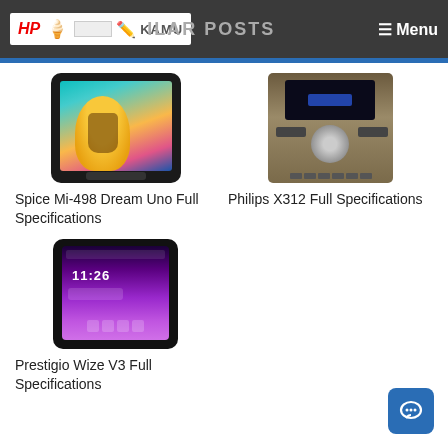[Figure (screenshot): Website header with HP Kamu logo on dark background, showing 'SIMILAR POSTS' text and hamburger Menu button]
[Figure (photo): Spice Mi-498 Dream Uno smartphone showing home screen with girl playing guitar wallpaper]
Spice Mi-498 Dream Uno Full Specifications
[Figure (photo): Philips X312 feature phone in gold/bronze color showing keypad and screen]
Philips X312 Full Specifications
[Figure (photo): Prestigio Wize V3 smartphone showing lock screen with time 11:26 on purple gradient background]
Prestigio Wize V3 Full Specifications